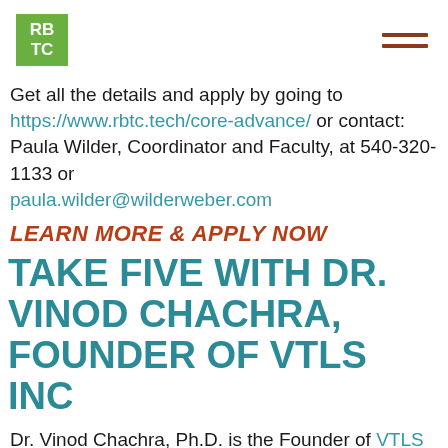RBTC [logo] [hamburger menu]
Get all the details and apply by going to https://www.rbtc.tech/core-advance/ or contact: Paula Wilder, Coordinator and Faculty, at 540-320-1133 or paula.wilder@wilderweber.com
LEARN MORE & APPLY NOW
TAKE FIVE WITH DR. VINOD CHACHRA, FOUNDER OF VTLS INC
Dr. Vinod Chachra, Ph.D. is the Founder of VTLS Inc. a